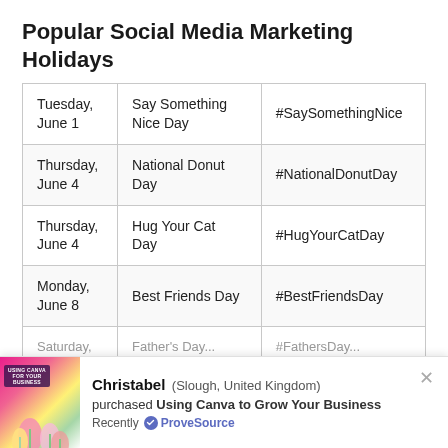Popular Social Media Marketing Holidays
| Tuesday, June 1 | Say Something Nice Day | #SaySomethingNice |
| Thursday, June 4 | National Donut Day | #NationalDonutDay |
| Thursday, June 4 | Hug Your Cat Day | #HugYourCatDay |
| Monday, June 8 | Best Friends Day | #BestFriendsDay |
| Saturday, … | Father's Day… | #FathersDay… |
Christabel (Slough, United Kingdom) purchased Using Canva to Grow Your Business Recently · ProveSource